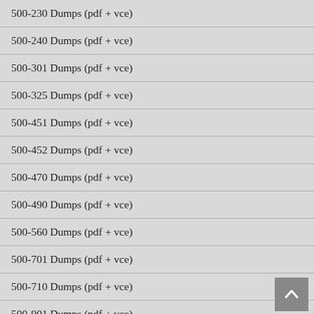500-230 Dumps (pdf + vce)
500-240 Dumps (pdf + vce)
500-301 Dumps (pdf + vce)
500-325 Dumps (pdf + vce)
500-451 Dumps (pdf + vce)
500-452 Dumps (pdf + vce)
500-470 Dumps (pdf + vce)
500-490 Dumps (pdf + vce)
500-560 Dumps (pdf + vce)
500-701 Dumps (pdf + vce)
500-710 Dumps (pdf + vce)
500-901 Dumps (pdf + vce)